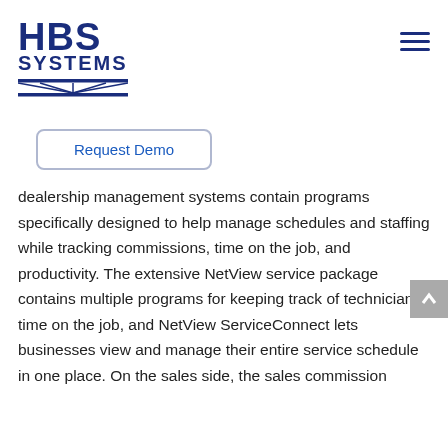[Figure (logo): HBS Systems logo with bold text 'HBS' and 'SYSTEMS' in dark navy blue, with decorative horizontal lines beneath]
[Figure (other): Hamburger menu icon — three horizontal navy blue lines stacked vertically]
Request Demo
dealership management systems contain programs specifically designed to help manage schedules and staffing while tracking commissions, time on the job, and productivity. The extensive NetView service package contains multiple programs for keeping track of technicians' time on the job, and NetView ServiceConnect lets businesses view and manage their entire service schedule in one place. On the sales side, the sales commission